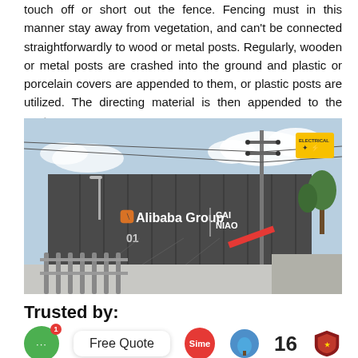touch off or short out the fence. Fencing must in this manner stay away from vegetation, and can't be connected straightforwardly to wood or metal posts. Regularly, wooden or metal posts are crashed into the ground and plastic or porcelain covers are appended to them, or plastic posts are utilized. The directing material is then appended to the posts.
[Figure (photo): Photo of a large warehouse or logistics facility with 'Alibaba Group' and 'Cainiao' branding on the grey building facade. Power lines run overhead, a yellow warning sign is visible on a utility pole, a fence runs along the front, and construction equipment is visible.]
Trusted by:
[Figure (logo): Row of company logos at the bottom: a green chat bubble icon with notification badge, a 'Free Quote' white rounded box, a red Sime logo, a blue tree logo, the number 16, and a shield/crest logo.]